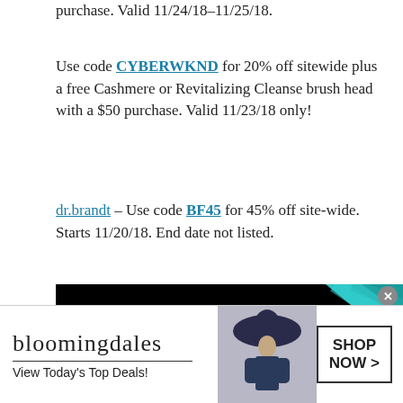purchase. Valid 11/24/18–11/25/18.
Use code CYBERWKND for 20% off sitewide plus a free Cashmere or Revitalizing Cleanse brush head with a $50 purchase. Valid 11/23/18 only!
dr.brandt – Use code BF45 for 45% off site-wide. Starts 11/20/18. End date not listed.
[Figure (illustration): Black Friday Sale advertisement banner: black background with teal upper-right corner featuring diagonal brush strokes, bold white text reading BLACK FRIDAY SALE, a decorative line, and cursive text 'A special offer just for you!']
[Figure (illustration): Infolinks-branded advertisement bar at bottom showing Bloomingdales logo, 'View Today's Top Deals!' tagline, a woman wearing a wide-brimmed hat, and a SHOP NOW > button]